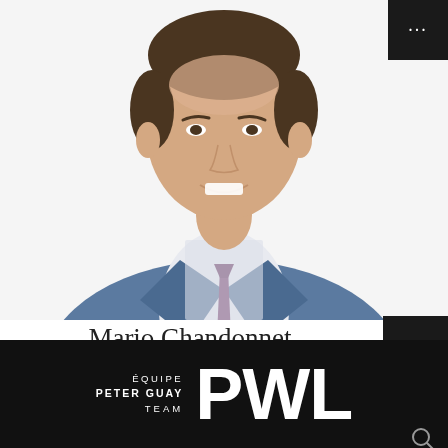[Figure (photo): Professional headshot of Mario Chandonnet, a man in a blue suit with a dark tie, smiling, against a white background]
Mario Chandonnet
Lead Financial Planner & Financial Security Advisor
[Figure (logo): Équipe Peter Guay Team PWL logo — white text on black background]